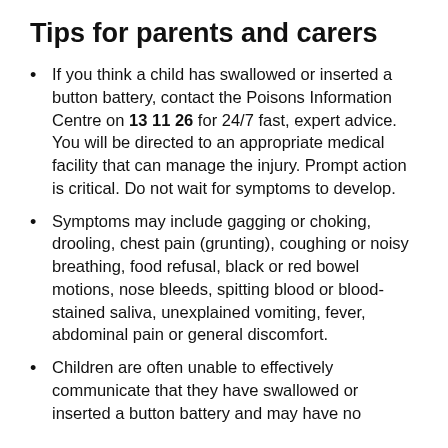Tips for parents and carers
If you think a child has swallowed or inserted a button battery, contact the Poisons Information Centre on 13 11 26 for 24/7 fast, expert advice. You will be directed to an appropriate medical facility that can manage the injury. Prompt action is critical. Do not wait for symptoms to develop.
Symptoms may include gagging or choking, drooling, chest pain (grunting), coughing or noisy breathing, food refusal, black or red bowel motions, nose bleeds, spitting blood or blood-stained saliva, unexplained vomiting, fever, abdominal pain or general discomfort.
Children are often unable to effectively communicate that they have swallowed or inserted a button battery and may have no symptoms. If you suspect a child...